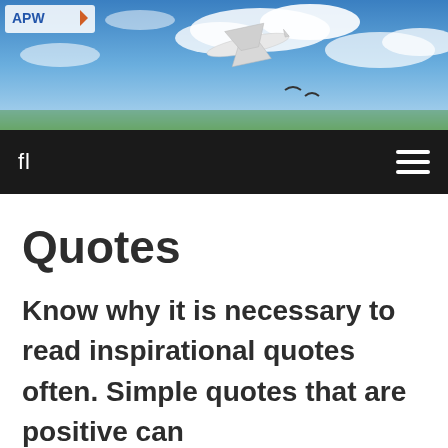[Figure (photo): Website header banner showing an airplane flying through a blue sky with clouds and birds, with APW logo in the upper left corner]
fl  ☰
Quotes
Know why it is necessary to read inspirational quotes often. Simple quotes that are positive can